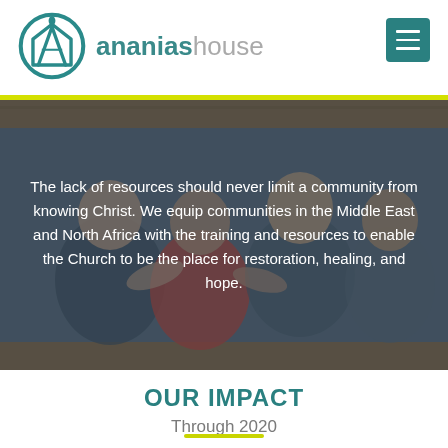[Figure (logo): Ananias House logo: circular teal icon with letter A and house shape, followed by brand name 'ananias house' in teal and gray]
[Figure (photo): Children looking through a wooden structure, dark overlay with mission statement text]
The lack of resources should never limit a community from knowing Christ. We equip communities in the Middle East and North Africa with the training and resources to enable the Church to be the place for restoration, healing, and hope.
OUR IMPACT
Through 2020